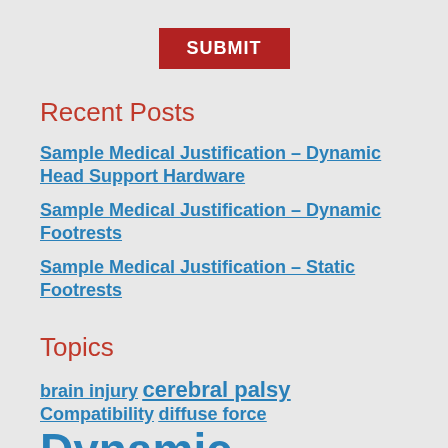[Figure (other): Red SUBMIT button]
Recent Posts
Sample Medical Justification – Dynamic Head Support Hardware
Sample Medical Justification – Dynamic Footrests
Sample Medical Justification – Static Footrests
Topics
brain injury  cerebral palsy  Compatibility  diffuse force  Dynamic Footrests  Dynamic Head Support Hardware